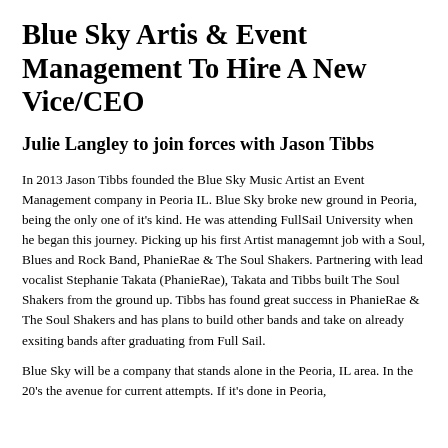Blue Sky Artis & Event Management To Hire A New Vice/CEO
Julie Langley to join forces with Jason Tibbs
In 2013 Jason Tibbs founded the Blue Sky Music Artist an Event Management company in Peoria IL. Blue Sky broke new ground in Peoria, being the only one of it's kind. He was attending FullSail University when he began this journey. Picking up his first Artist managemnt job with a Soul, Blues and Rock Band, PhanieRae & The Soul Shakers. Partnering with lead vocalist Stephanie Takata (PhanieRae), Takata and Tibbs built The Soul Shakers from the ground up. Tibbs has found great success in PhanieRae & The Soul Shakers and has plans to build other bands and take on already exsiting bands after graduating from Full Sail.
Blue Sky will be a company that stands alone in the Peoria, IL area. In the 20's the avenue for current attempts. If it's done in Peoria,